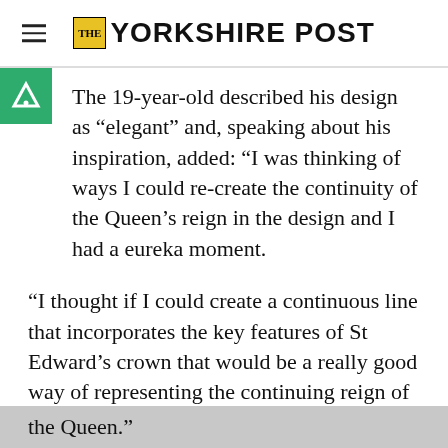THE YORKSHIRE POST
The 19-year-old described his design as “elegant” and, speaking about his inspiration, added: “I was thinking of ways I could re-create the continuity of the Queen’s reign in the design and I had a eureka moment.
“I thought if I could create a continuous line that incorporates the key features of St Edward’s crown that would be a really good way of representing the continuing reign of the Queen.”